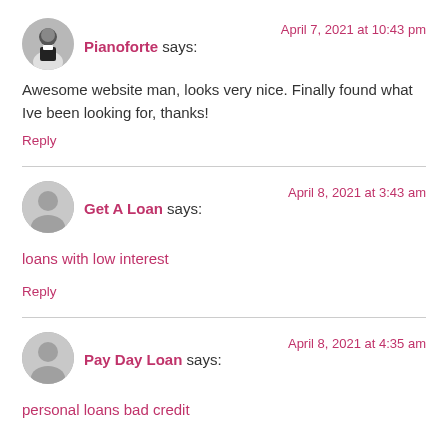Pianoforte says:  April 7, 2021 at 10:43 pm
Awesome website man, looks very nice. Finally found what Ive been looking for, thanks!
Reply
Get A Loan says:  April 8, 2021 at 3:43 am
loans with low interest
Reply
Pay Day Loan says:  April 8, 2021 at 4:35 am
personal loans bad credit